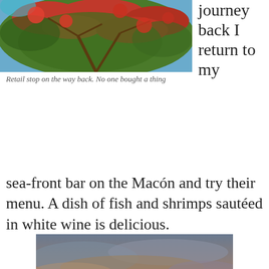[Figure (photo): Flowering tree with red blossoms and green foliage against a blue sky, viewed from below]
journey back I return to my
Retail stop on the way back. No one bought a thing
sea-front bar on the Macón and try their menu. A dish of fish and shrimps sautéed in white wine is delicious.
[Figure (photo): Sunset over the sea with silhouettes of people and buildings along a promenade, dramatic cloudy sky with golden light]